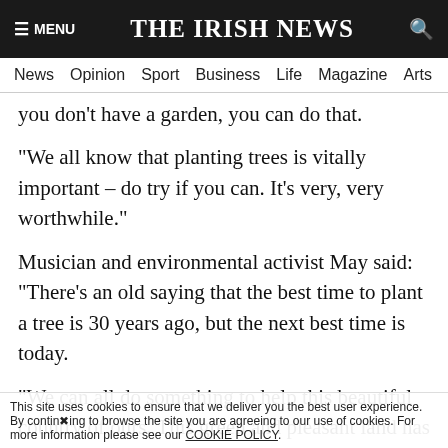≡ MENU   THE IRISH NEWS   🔍
News  Opinion  Sport  Business  Life  Magazine  Arts
you don't have a garden, you can do that.
“We all know that planting trees is vitally important – do try if you can. It’s very, very worthwhile.”
Musician and environmental activist May said: “There’s an old saying that the best time to plant a tree is 30 years ago, but the next best time is today.
“We can all do something to help this beautiful country of ours. This green and pleasant land has been losing its greenery for far too long.
“We can all do our bit. We all need to get into this. Plant, plant, plant, we all need to plant.”
This site uses cookies to ensure that we deliver you the best user experience. By continuing to browse the site you are agreeing to our use of cookies. For more information please see our COOKIE POLICY.